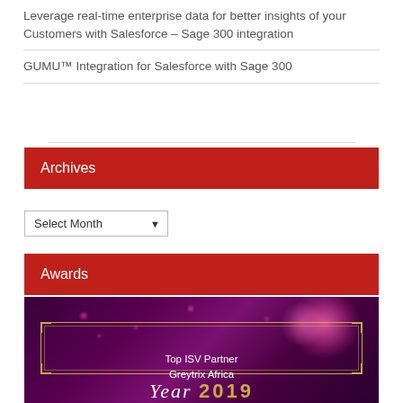Leverage real-time enterprise data for better insights of your Customers with Salesforce – Sage 300 integration
GUMU™ Integration for Salesforce with Sage 300
Archives
Select Month
Awards
[Figure (photo): Award image showing 'Top ISV Partner Greytrix Africa Year 2019' text in a gold-bordered box on a purple/pink bokeh background]